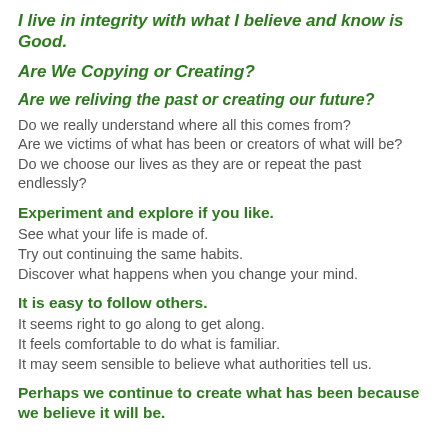I live in integrity with what I believe and know is Good.
Are We Copying or Creating?
Are we reliving the past or creating our future?
Do we really understand where all this comes from? Are we victims of what has been or creators of what will be? Do we choose our lives as they are or repeat the past endlessly?
Experiment and explore if you like.
See what your life is made of.
Try out continuing the same habits.
Discover what happens when you change your mind.
It is easy to follow others.
It seems right to go along to get along.
It feels comfortable to do what is familiar.
It may seem sensible to believe what authorities tell us.
Perhaps we continue to create what has been because we believe it will be.